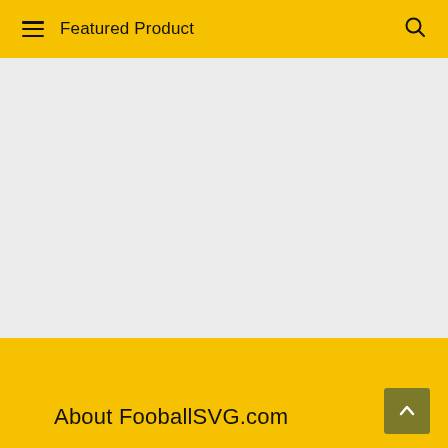Featured Product
About FooballSVG.com